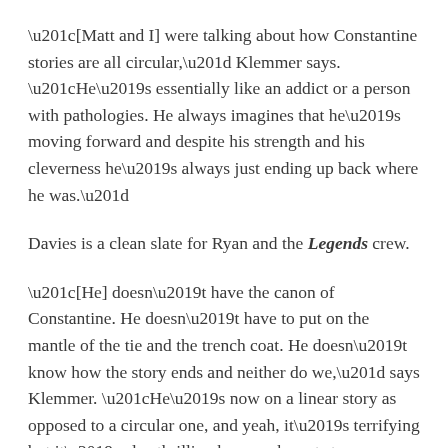“[Matt and I] were talking about how Constantine stories are all circular,” Klemmer says. “He’s essentially like an addict or a person with pathologies. He always imagines that he’s moving forward and despite his strength and his cleverness he’s always just ending up back where he was.”
Davies is a clean slate for Ryan and the Legends crew.
“[He] doesn’t have the canon of Constantine. He doesn’t have to put on the mantle of the tie and the trench coat. He doesn’t know how the story ends and neither do we,” says Klemmer. “He’s now on a linear story as opposed to a circular one, and yeah, it’s terrifying but it’s also thrilling because he gets to evolve.”